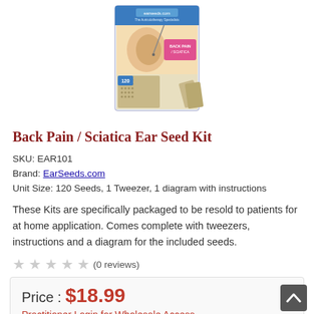[Figure (photo): Product image of Back Pain / Sciatica Ear Seed Kit box showing ear with seed applicator and a sheet of 120 seeds]
Back Pain / Sciatica Ear Seed Kit
SKU: EAR101
Brand: EarSeeds.com
Unit Size: 120 Seeds, 1 Tweezer, 1 diagram with instructions
These Kits are specifically packaged to be resold to patients for at home application. Comes complete with tweezers, instructions and a diagram for the included seeds.
★★★★★ (0 reviews)
Price : $18.99
Practitioner Login for Wholesale Access
Quantity  1  (5 in stock)